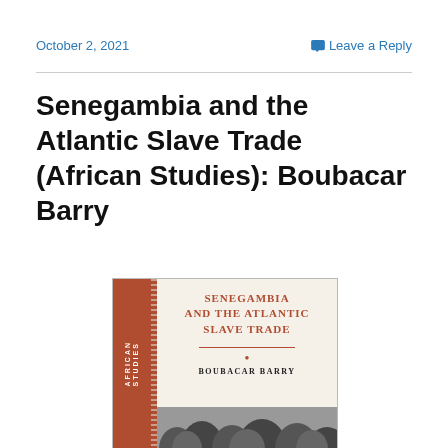October 2, 2021   Leave a Reply
Senegambia and the Atlantic Slave Trade (African Studies): Boubacar Barry
[Figure (illustration): Book cover of 'Senegambia and the Atlantic Slave Trade' by Boubacar Barry, part of the African Studies series. Cover features a terracotta/brown spine label reading 'African Studies', title text in brown serif capitals on a cream background, author name, decorative divider, and a black-and-white landscape image at the bottom.]